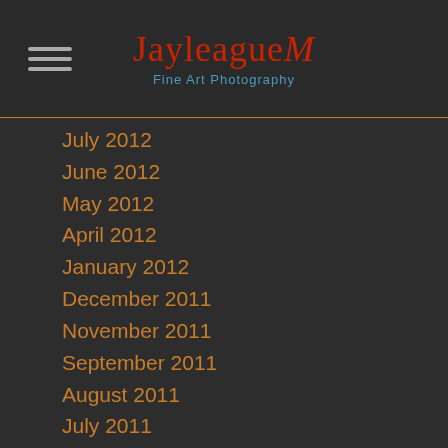JayleagueM Fine Art Photography
July 2012
June 2012
May 2012
April 2012
January 2012
December 2011
November 2011
September 2011
August 2011
July 2011
May 2011
March 2011
January 2011
December 2010
November 2010
October 2010
Message Us